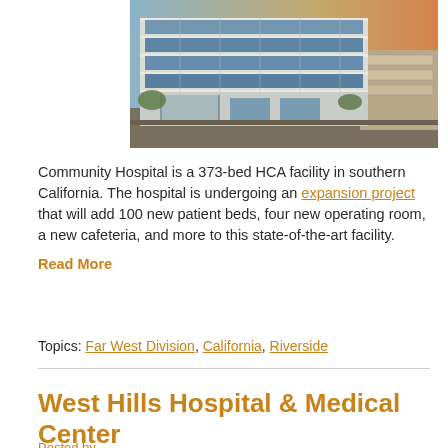[Figure (photo): Aerial/exterior view of a modern multi-story hospital building with large glass windows, white facade, surrounded by parking structures at dusk/sunset.]
Community Hospital is a 373-bed HCA facility in southern California. The hospital is undergoing an expansion project that will add 100 new patient beds, four new operating room, a new cafeteria, and more to this state-of-the-art facility. Read More
Topics: Far West Division, California, Riverside
West Hills Hospital & Medical Center
Posted by ...